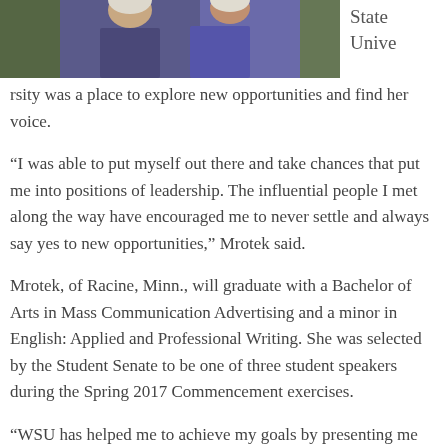[Figure (photo): Partial image of a person wearing a purple jacket outdoors, cropped at top of page]
State Unive rsity was a place to explore new opportunities and find her voice.
“I was able to put myself out there and take chances that put me into positions of leadership. The influential people I met along the way have encouraged me to never settle and always say yes to new opportunities,” Mrotek said.
Mrotek, of Racine, Minn., will graduate with a Bachelor of Arts in Mass Communication Advertising and a minor in English: Applied and Professional Writing. She was selected by the Student Senate to be one of three student speakers during the Spring 2017 Commencement exercises.
“WSU has helped me to achieve my goals by presenting me endless opportunities to grow in my